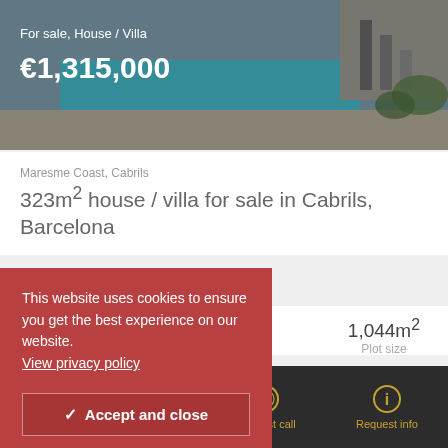[Figure (photo): Exterior photo of a modern house/villa with pool area, shown partially at top of page]
For sale, House / Villa
€1,315,000
Maresme Coast, Cabrils
323m² house / villa for sale in Cabrils, Barcelona
1,044m²
Plot size
This website uses cookies to ensure you get the best experience on our website. View privacy policy
Accept and close
you're looking for?
Call us | WhatsApp | Request call | Request info